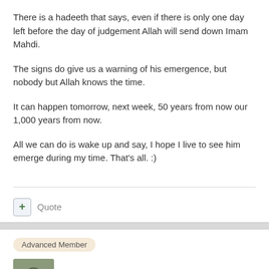There is a hadeeth that says, even if there is only one day left before the day of judgement Allah will send down Imam Mahdi.
The signs do give us a warning of his emergence, but nobody but Allah knows the time.
It can happen tomorrow, next week, 50 years from now our 1,000 years from now.
All we can do is wake up and say, I hope I live to see him emerge during my time. That's all. :)
Quote
Advanced Member
mohalamine
Posted September 23, 2008